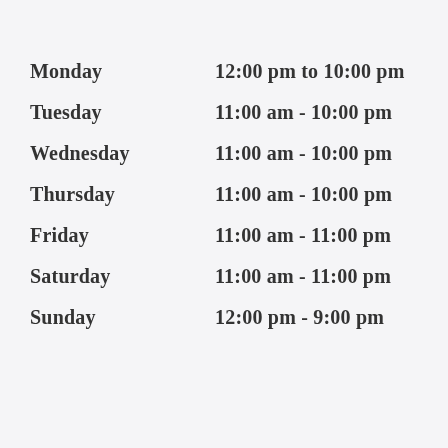Monday    12:00 pm to 10:00 pm
Tuesday    11:00 am - 10:00 pm
Wednesday    11:00 am - 10:00 pm
Thursday    11:00 am - 10:00 pm
Friday    11:00 am - 11:00 pm
Saturday    11:00 am - 11:00 pm
Sunday    12:00 pm - 9:00 pm